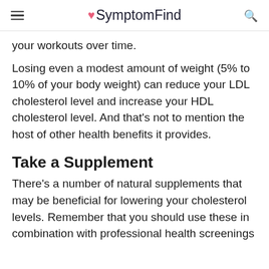SymptomFind
your workouts over time.
Losing even a modest amount of weight (5% to 10% of your body weight) can reduce your LDL cholesterol level and increase your HDL cholesterol level. And that's not to mention the host of other health benefits it provides.
Take a Supplement
There's a number of natural supplements that may be beneficial for lowering your cholesterol levels. Remember that you should use these in combination with professional health screenings